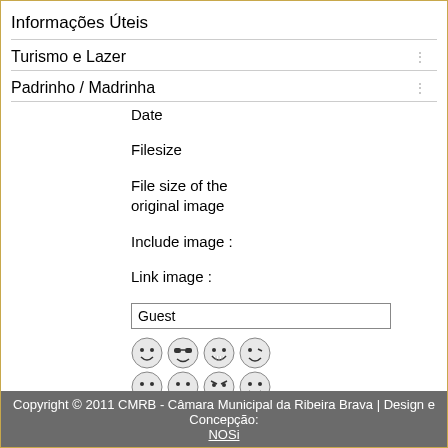Informações Úteis
Turismo e Lazer
Padrinho / Madrinha
Date
Filesize
File size of the original image
Include image :
Link image :
Guest
[Figure (illustration): Two rows of emoji/smiley face icons (happy, cool, grin, wink in top row; neutral, sad, angry, tongue in bottom row)]
BBCode is on
Copyright © 2011 CMRB - Câmara Municipal da Ribeira Brava | Design e Concepção: NOSi